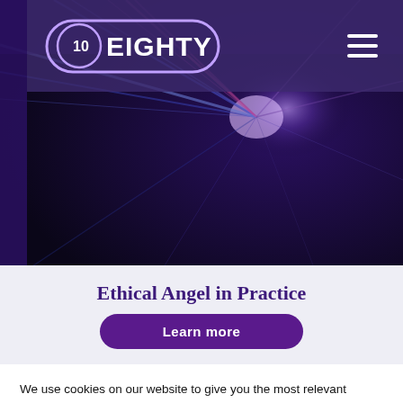10EIGHTY
[Figure (photo): Dark background with colorful laser light rays in purple, blue, and red emanating from center-right area]
Ethical Angel in Practice
Learn more
We use cookies on our website to give you the most relevant experience by remembering your preferences and repeat visits. By clicking “ACCPET COOKIES”, you consent to the use of ALL the cookies.
VIEW COOKIE POLICY
ACCEPT COOKIES